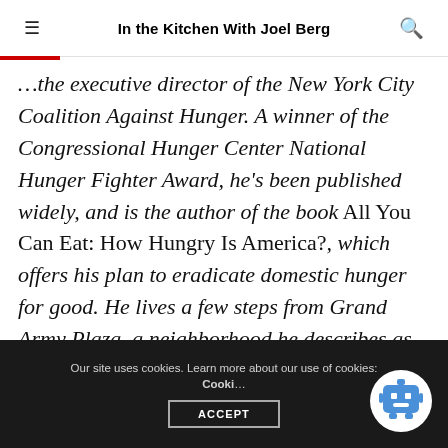In the Kitchen With Joel Berg
...the executive director of the New York City Coalition Against Hunger. A winner of the Congressional Hunger Center National Hunger Fighter Award, he’s been published widely, and is the author of the book All You Can Eat: How Hungry Is America?, which offers his plan to eradicate domestic hunger for good. He lives a few steps from Grand Army Plaza, a neighborhood he describes as either Park Slope or Prospect Heights, depending on who’s asking.
Our site uses cookies. Learn more about our use of cookies: Cookie Policy
ACCEPT